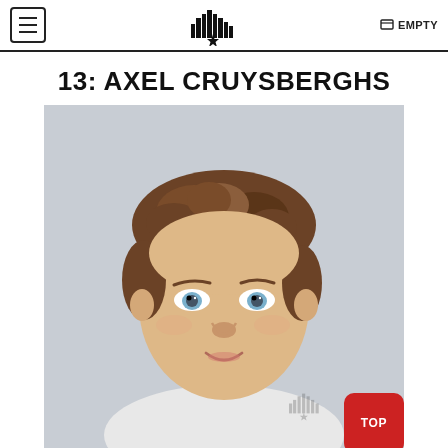EMPTY
13: AXEL CRUYSBERGHS
[Figure (photo): Headshot photo of Axel Cruysberghs, a young man with tousled brown hair, light blue eyes, and a slight smile, against a light gray background. A watermark logo appears in the lower right of the photo. A red 'TOP' button is in the bottom-right corner.]